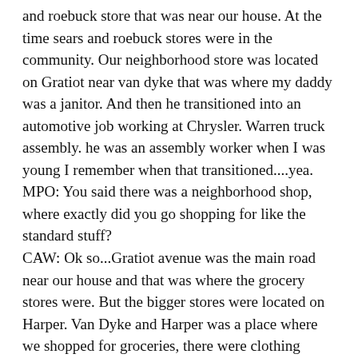and roebuck store that was near our house. At the time sears and roebuck stores were in the community. Our neighborhood store was located on Gratiot near van dyke that was where my daddy was a janitor. And then he transitioned into an automotive job working at Chrysler. Warren truck assembly. he was an assembly worker when I was young I remember when that transitioned....yea.
MPO: You said there was a neighborhood shop, where exactly did you go shopping for like the standard stuff?
CAW: Ok so...Gratiot avenue was the main road near our house and that was where the grocery stores were. But the bigger stores were located on Harper. Van Dyke and Harper was a place where we shopped for groceries, there were clothing stores on Van Dyke near Harper. So those were the two areas where we went to in our communities that I can remember. So, Gratiot was a main road, and Harper and Van Dyke.
MPO: Where did you go to school?